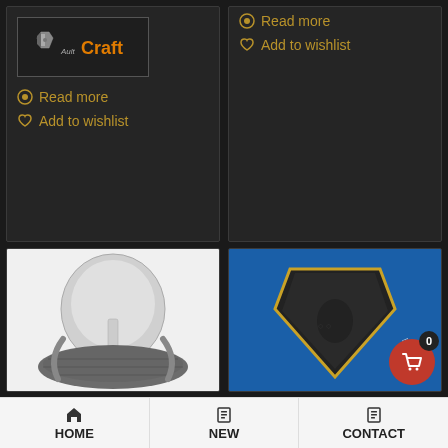[Figure (logo): AultCraft logo with icon, inside a bordered box]
Read more
Add to wishlist
Read more
Add to wishlist
[Figure (photo): Medieval chainmail helmet with coif on white background]
[Figure (photo): Leather shield or armor piece with gold trim on blue background, with shopping cart badge showing 0]
HOME   NEW   CONTACT